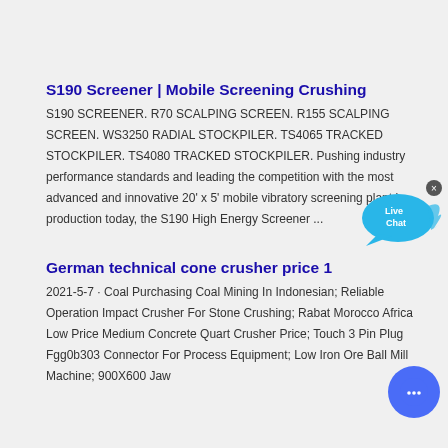S190 Screener | Mobile Screening Crushing
S190 SCREENER. R70 SCALPING SCREEN. R155 SCALPING SCREEN. WS3250 RADIAL STOCKPILER. TS4065 TRACKED STOCKPILER. TS4080 TRACKED STOCKPILER. Pushing industry performance standards and leading the competition with the most advanced and innovative 20' x 5' mobile vibratory screening plant in production today, the S190 High Energy Screener ...
German technical cone crusher price 1
2021-5-7 · Coal Purchasing Coal Mining In Indonesian; Reliable Operation Impact Crusher For Stone Crushing; Rabat Morocco Africa Low Price Medium Concrete Quart Crusher Price; Touch 3 Pin Plug Fgg0b303 Connector For Process Equipment; Low Iron Ore Ball Mill Machine; 900X600 Jaw